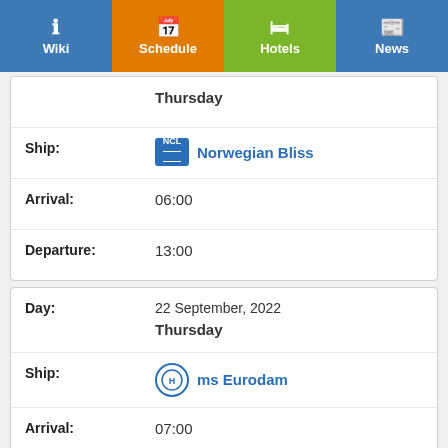Wiki | Schedule | Hotels | News
| Field | Value |
| --- | --- |
| Thursday |  |
| Ship: | Norwegian Bliss |
| Arrival: | 06:00 |
| Departure: | 13:00 |
| Field | Value |
| --- | --- |
| Day: | 22 September, 2022 Thursday |
| Ship: | ms Eurodam |
| Arrival: | 07:00 |
| Departure: | 12:00 |
| Field | Value |
| --- | --- |
| Day: | 22 September, 2022 |